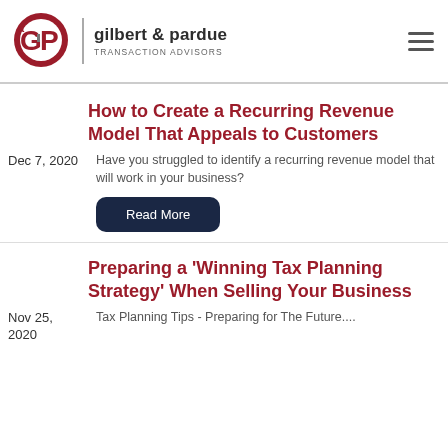[Figure (logo): Gilbert & Pardue Transaction Advisors logo with circular G&P monogram in red and company name]
How to Create a Recurring Revenue Model That Appeals to Customers
Dec 7, 2020
Have you struggled to identify a recurring revenue model that will work in your business?
Read More
Preparing a 'Winning Tax Planning Strategy' When Selling Your Business
Nov 25, 2020
Tax Planning Tips - Preparing for The Future....